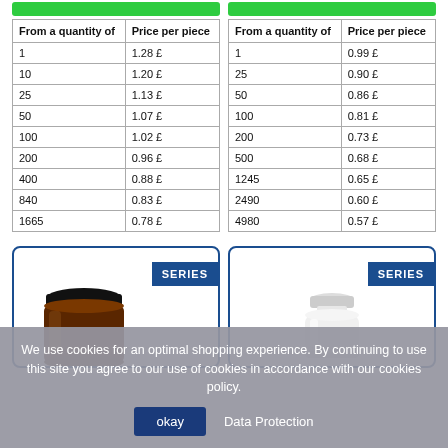| From a quantity of | Price per piece |
| --- | --- |
| 1 | 1.28 £ |
| 10 | 1.20 £ |
| 25 | 1.13 £ |
| 50 | 1.07 £ |
| 100 | 1.02 £ |
| 200 | 0.96 £ |
| 400 | 0.88 £ |
| 840 | 0.83 £ |
| 1665 | 0.78 £ |
| From a quantity of | Price per piece |
| --- | --- |
| 1 | 0.99 £ |
| 25 | 0.90 £ |
| 50 | 0.86 £ |
| 100 | 0.81 £ |
| 200 | 0.73 £ |
| 500 | 0.68 £ |
| 1245 | 0.65 £ |
| 2490 | 0.60 £ |
| 4980 | 0.57 £ |
[Figure (photo): Dark amber glass jar with black lid, labeled SERIES badge in blue]
[Figure (photo): White plastic bottle/jar with white lid, labeled SERIES badge in blue]
We use cookies for an optimal shopping experience. By continuing to use this site you agree to our use of cookies in accordance with our cookies policy.